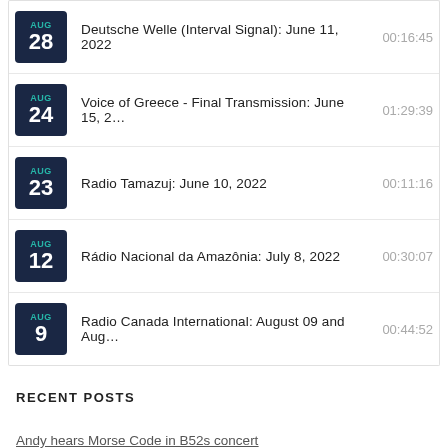Deutsche Welle (Interval Signal): June 11, 2022 — 00:16:45
Voice of Greece - Final Transmission: June 15, 2... — 01:29:39
Radio Tamazuj: June 10, 2022 — 00:11:16
Rádio Nacional da Amazônia: July 8, 2022 — 00:30:07
Radio Canada International: August 09 and Aug... — 00:44:52
RECENT POSTS
Andy hears Morse Code in B52s concert
The shortwave showdown of 2022
Video: Nick's initial review of the Eton Elite Satellit
The new Alinco DJ-X100 wideband receiver
Grab a new Eton Elite Executive at Woot for $79.99